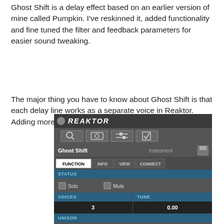Ghost Shift is a delay effect based on an earlier version of mine called Pumpkin. I've reskinned it, added functionality and fine tuned the filter and feedback parameters for easier sound tweaking.
The major thing you have to know about Ghost Shift is that each delay line works as a separate voice in Reaktor. Adding more voices in the instrument parameters...
[Figure (screenshot): Reaktor software instrument parameters panel showing Ghost Shift instrument with FUNCTION/INFO/VIEW/CONNECT tabs, STATUS section with Solo and Mute checkboxes, VOICES set to 3, TUNE set to 0.00, and UNISON section with Max Voices and Spread labels.]